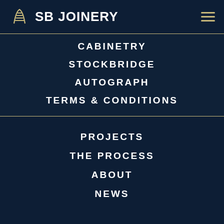SB JOINERY
CABINETRY
STOCKBRIDGE
AUTOGRAPH
TERMS & CONDITIONS
PROJECTS
THE PROCESS
ABOUT
NEWS